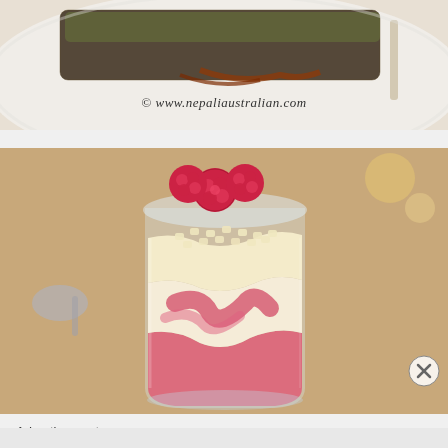[Figure (photo): Top portion of a food dish on a white plate with dark crumbled coating and sauce, with watermark © www.nepalaustralian.com]
[Figure (photo): A glass dessert cup filled with layered cream, raspberry coulis/sauce, and topped with fresh raspberries and white chocolate pieces, photographed on a light wooden table with bokeh background]
Advertisements